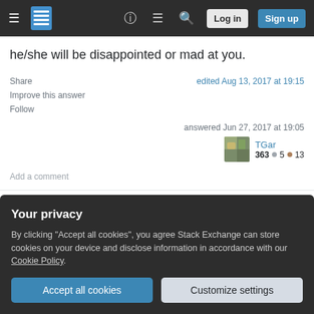Stack Exchange navigation bar with Log in and Sign up buttons
he/she will be disappointed or mad at you.
Share | Improve this answer | Follow
edited Aug 13, 2017 at 19:15
answered Jun 27, 2017 at 19:05
TGar
363 ●5 ●13
Add a comment
In work/professional situations or on the off chance
Your privacy
By clicking "Accept all cookies", you agree Stack Exchange can store cookies on your device and disclose information in accordance with our Cookie Policy.
Accept all cookies   Customize settings
private emails.